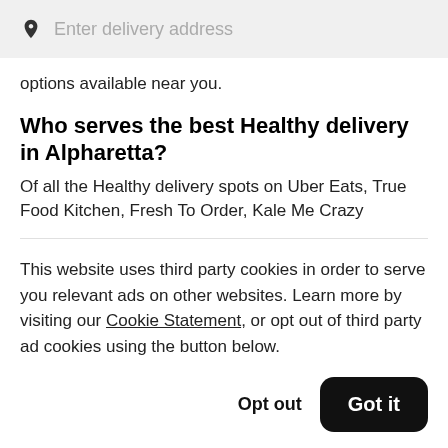[Figure (screenshot): Search bar with location pin icon and placeholder text 'Enter delivery address' on a light gray background]
options available near you.
Who serves the best Healthy delivery in Alpharetta?
Of all the Healthy delivery spots on Uber Eats, True Food Kitchen, Fresh To Order, Kale Me Crazy
This website uses third party cookies in order to serve you relevant ads on other websites. Learn more by visiting our Cookie Statement, or opt out of third party ad cookies using the button below.
Opt out
Got it